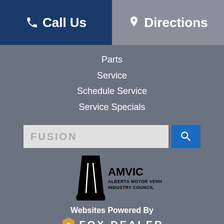Call Us
Directions
Parts
Service
Schedule Service
Service Specials
[Figure (screenshot): Search input box with text FUSION and a blue search button with magnifying glass icon]
[Figure (logo): AMVIC Alberta Motor Vehicle Industry Council logo with road graphic]
Websites Powered By FOX DEALER
Your web browser (iOS 11) is out of date. Update your browser for more security, speed and the best experience on this site.
Update browser
Ignore